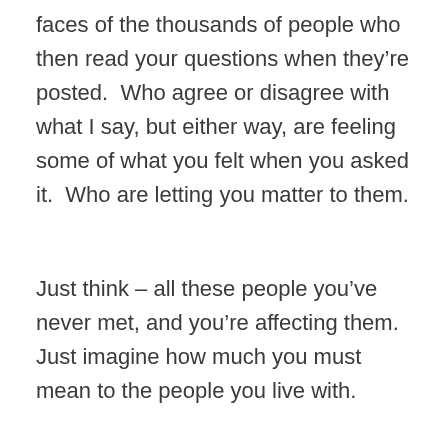faces of the thousands of people who then read your questions when they're posted.  Who agree or disagree with what I say, but either way, are feeling some of what you felt when you asked it.  Who are letting you matter to them.
Just think – all these people you've never met, and you're affecting them.  Just imagine how much you must mean to the people you live with.